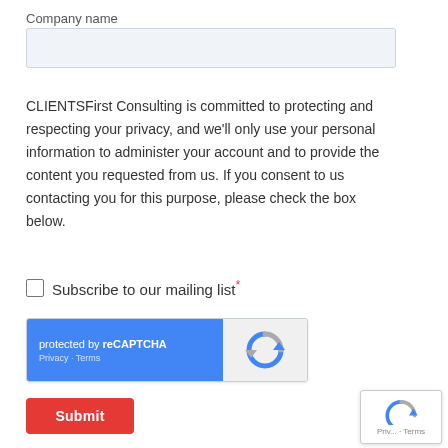Company name
[Figure (other): Text input field for Company name, light blue-gray background with border]
CLIENTSFirst Consulting is committed to protecting and respecting your privacy, and we'll only use your personal information to administer your account and to provide the content you requested from us. If you consent to us contacting you for this purpose, please check the box below.
Subscribe to our mailing list*
[Figure (other): reCAPTCHA widget: blue left panel with 'protected by reCAPTCHA' text and Privacy · Terms links, gray right panel with reCAPTCHA icon]
[Figure (other): Submit button (red/orange) with white bold text 'Submit']
[Figure (other): Partial reCAPTCHA badge in bottom-right corner showing icon and Priv... Terms text]